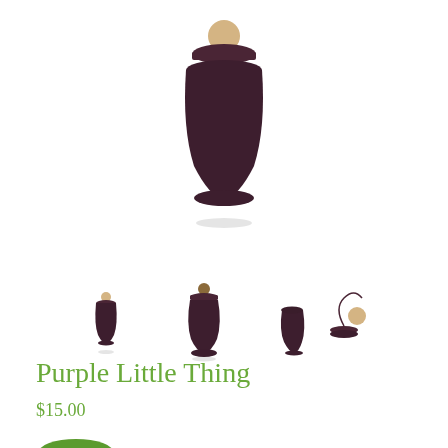[Figure (photo): A small dark purple wooden pot/container with a wooden lid topped by a small round bead/ball, shown from the front. The container is bulbous and dark brownish-purple with a natural wood lid and finial.]
[Figure (photo): Three thumbnail views of the same purple little thing: left shows a tiny closed version, center shows a slightly larger closed version, right shows the container open with the lid/ball finial separated.]
Purple Little Thing
$15.00